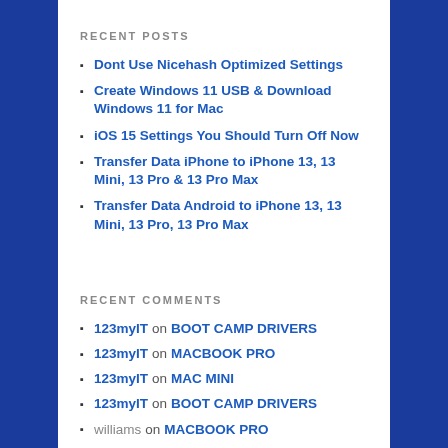RECENT POSTS
Dont Use Nicehash Optimized Settings
Create Windows 11 USB & Download Windows 11 for Mac
iOS 15 Settings You Should Turn Off Now
Transfer Data iPhone to iPhone 13, 13 Mini, 13 Pro & 13 Pro Max
Transfer Data Android to iPhone 13, 13 Mini, 13 Pro, 13 Pro Max
RECENT COMMENTS
123myIT on BOOT CAMP DRIVERS
123myIT on MACBOOK PRO
123myIT on MAC MINI
123myIT on BOOT CAMP DRIVERS
williams on MACBOOK PRO